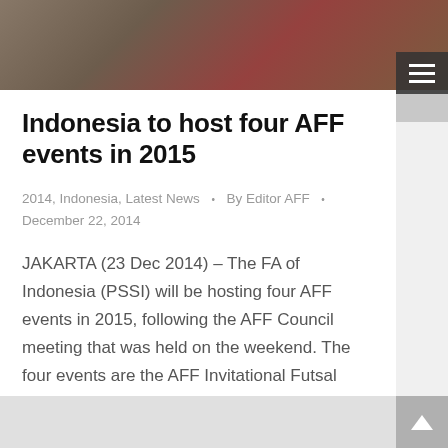[Figure (photo): Partial photo of people at a meeting or event, shown at the top of the page as a banner image]
Indonesia to host four AFF events in 2015
2014, Indonesia, Latest News · By Editor AFF · December 22, 2014
JAKARTA (23 Dec 2014) – The FA of Indonesia (PSSI) will be hosting four AFF events in 2015, following the AFF Council meeting that was held on the weekend. The four events are the AFF Invitational Futsal Club Championship, the AFF U16 Championship, the AFF U19 Championship and also the AFF Futsal Championship. The only…